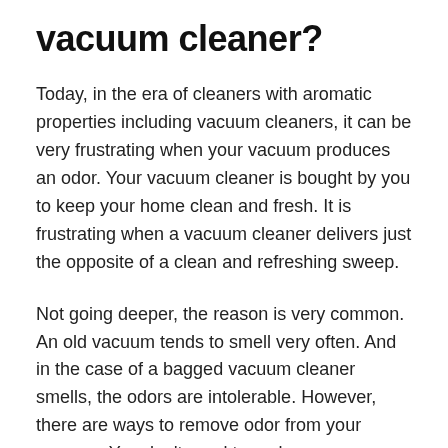vacuum cleaner?
Today, in the era of cleaners with aromatic properties including vacuum cleaners, it can be very frustrating when your vacuum produces an odor. Your vacuum cleaner is bought by you to keep your home clean and fresh. It is frustrating when a vacuum cleaner delivers just the opposite of a clean and refreshing sweep.
Not going deeper, the reason is very common. An old vacuum tends to smell very often. And in the case of a bagged vacuum cleaner smells, the odors are intolerable. However, there are ways to remove odor from your vacuum. You don't need to replace your vacuum, all you have to do is